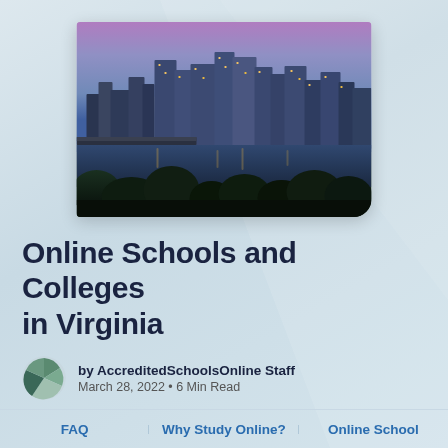[Figure (photo): Aerial cityscape photo of Richmond, Virginia skyline at dusk/twilight with illuminated buildings reflected over a river, with trees in the foreground]
Online Schools and Colleges in Virginia
by AccreditedSchoolsOnline Staff
March 28, 2022 • 6 Min Read
FAQ | Why Study Online? | Online School